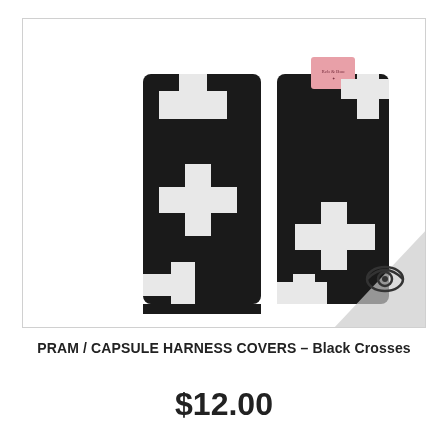[Figure (photo): Two black fabric harness/seatbelt covers with white cross (plus sign) pattern. The covers are rectangular and padded. A small pink branded label is visible at the top of the right cover. A small circular eye logo watermark appears in the bottom-right corner of the image box.]
PRAM / CAPSULE HARNESS COVERS – Black Crosses
$12.00